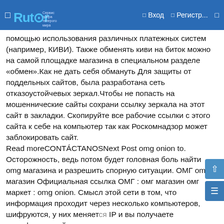Rutor — Вход — Регистр...
помощью использования различных платежных систем (например, КИВИ). Также обменять киви на биток можно на самой площадке магазина в специальном разделе «обмен».Как не дать себя обмануть Для защиты от поддельных сайтов, была разработана сеть отказоустойчевых зеркал.Чтобы не попасть на мошеннические сайты сохрани ссылку зеркала на этот сайт в закладки. Скопируйте все рабочие ссылки с этого сайта к себе на компьютер так как Роскомнадзор может заблокировать сайт.
Read moreCONTÁCTANOSNext Post omg onion to. Осторожность, ведь потом будет головная боль найти omg магазина и разрешить спорную ситуации. ОМГ omg магазин Официальная ссылка ОМГ : омг магазин омг маркет : omg onion. Смысл этой сети в том, что информация проходит через несколько компьютеров, шифруются, у них меняется IP и вы получаете зашифрованный канал передачи omg ссылка тор. Покупка возможна в любое время суток из любой области.Предыдущая страница: правильная ссылка omgСледующая страница: union omg зеркалаКомментарии